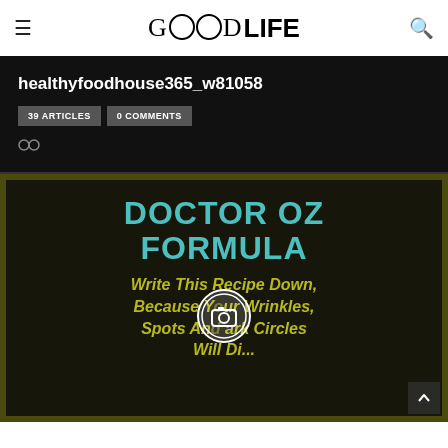GOODLIFE
healthyfoodhouse365_w81058
39 ARTICLES   0 COMMENTS
[Figure (screenshot): Article thumbnail showing 'DOCTOR OZ FORMULA - Write This Recipe Down, Because Your Wrinkles, Spots And Dark Circles Will Di...' text on dark background with gold/teal colors, with a camera icon overlay in the center]